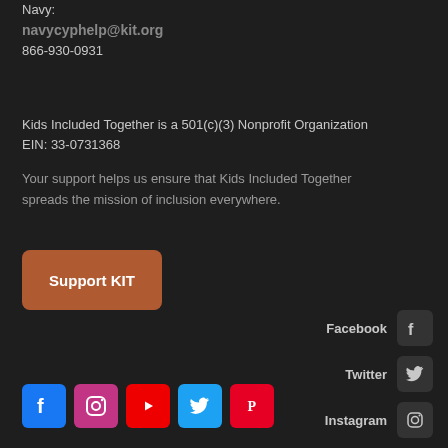Navy:
navycyphelp@kit.org
866-930-0931
Kids Included Together is a 501(c)(3) Nonprofit Organization
EIN: 33-0731368
Your support helps us ensure that Kids Included Together spreads the mission of inclusion everywhere.
Support KIT
Facebook
Twitter
Instagram